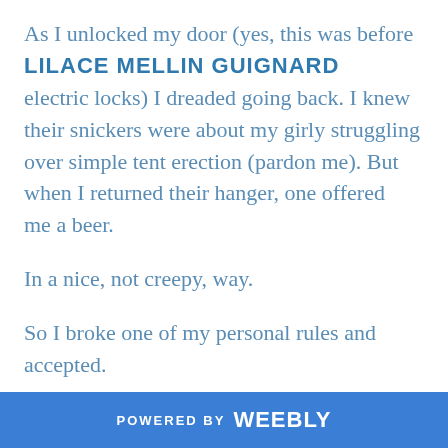As I unlocked my door (yes, this was before LILACE MELLIN GUIGNARD electric locks) I dreaded going back. I knew their snickers were about my girly struggling over simple tent erection (pardon me). But when I returned their hanger, one offered me a beer.

In a nice, not creepy, way.

So I broke one of my personal rules and accepted.

Then he told me they were impressed. That
POWERED BY weebly